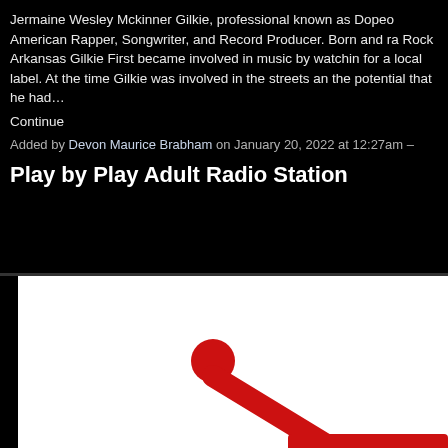Jermaine Wesley Mckinner Gilkie, professional known as Dopeo American Rapper, Songwriter, and Record Producer. Born and ra Rock Arkansas Gilkie First became involved in music by watchin for a local label. At the time Gilkie was involved in the streets an the potential that he had…
Continue
Added by Devon Maurice Brabham on January 20, 2022 at 12:27am –
Play by Play Adult Radio Station
[Figure (logo): Partial view of a logo featuring a red crown or antenna-like shape with a red circle on top, on a white background inside a dark border frame.]